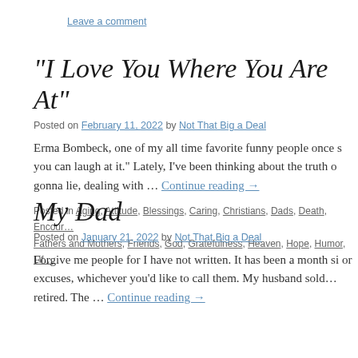Leave a comment
“I Love You Where You Are At”
Posted on February 11, 2022 by Not That Big a Deal
Erma Bombeck, one of my all time favorite funny people once s… you can laugh at it.” Lately, I’ve been thinking about the truth o… gonna lie, dealing with … Continue reading →
Posted in Aging, Attitude, Blessings, Caring, Christians, Dads, Death, Encour… Fathers and Mothers, Friends, God, Gratefulness, Heaven, Hope, Humor, Lif…
My Dad
Posted on January 21, 2022 by Not That Big a Deal
Forgive me people for I have not written. It has been a month si… or excuses, whichever you’d like to call them. My husband sold… retired. The … Continue reading →